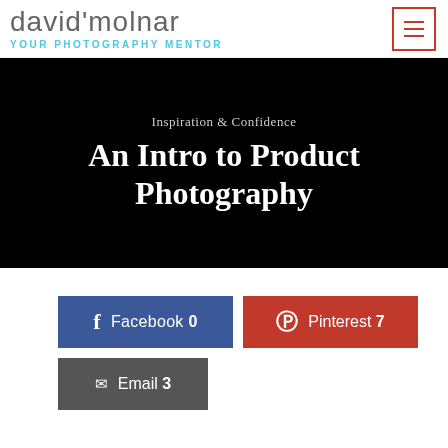david'molnar YOUR PHOTOGRAPHY MENTOR
[Figure (screenshot): Navigation menu hamburger icon button with red border]
[Figure (screenshot): Black hero banner with text: Inspiration & Confidence / An Intro to Product Photography]
Inspiration & Confidence
An Intro to Product Photography
[Figure (infographic): Social share buttons: Facebook 0, Pinterest 7, Email 3]